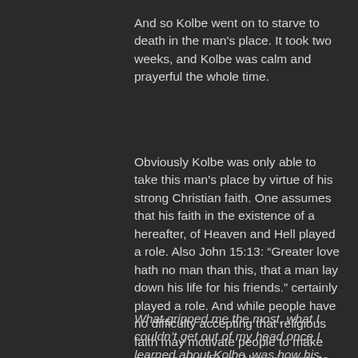And so Kolbe went on to starve to death in the man's place. It took two weeks, and Kolbe was calm and prayerful the whole time.
Obviously Kolbe was only able to take this man's place by virtue of his strong Christian faith. One assumes that his faith in the existence of a hereafter, of Heaven and Hell played a role. Also John 15:13: “Greater love hath no man than this, that a man lay down his life for his friends.” certainly played a role. And while people have no difficulty accepting that religious faith may motivate people to make extreme sacrifices, Ahmari wants to make sure we understand that his faith didn’t require him to do this thing, it didn’t constrict his choices, it opened them up. Kolbe’s faith gave him the freedom to make that choice.
What gripped me the most, what I couldn’t get out of my head once I learned about Kolbe, was how his sacrifice represented a strange yet